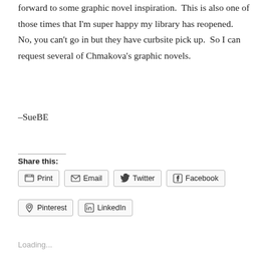forward to some graphic novel inspiration.  This is also one of those times that I'm super happy my library has reopened.  No, you can't go in but they have curbsite pick up.  So I can request several of Chmakova's graphic novels.
–SueBE
Share this:
Print  Email  Twitter  Facebook  Pinterest  LinkedIn
Loading...